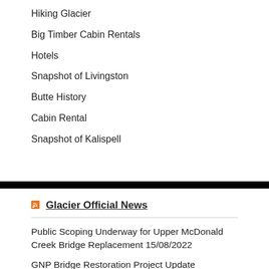Hiking Glacier
Big Timber Cabin Rentals
Hotels
Snapshot of Livingston
Butte History
Cabin Rental
Snapshot of Kalispell
Glacier Official News
Public Scoping Underway for Upper McDonald Creek Bridge Replacement 15/08/2022
GNP Bridge Restoration Project Update